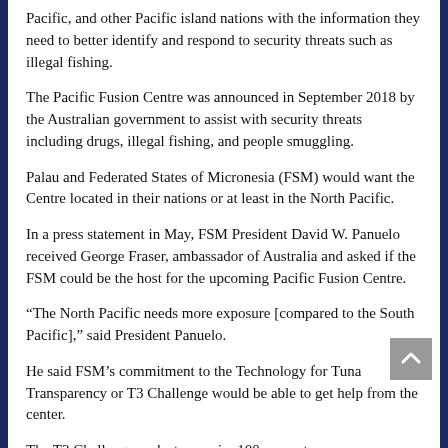Pacific, and other Pacific island nations with the information they need to better identify and respond to security threats such as illegal fishing.
The Pacific Fusion Centre was announced in September 2018 by the Australian government to assist with security threats including drugs, illegal fishing, and people smuggling.
Palau and Federated States of Micronesia (FSM) would want the Centre located in their nations or at least in the North Pacific.
In a press statement in May, FSM President David W. Panuelo received George Fraser, ambassador of Australia and asked if the FSM could be the host for the upcoming Pacific Fusion Centre.
“The North Pacific needs more exposure [compared to the South Pacific],” said President Panuelo.
He said FSM’s commitment to the Technology for Tuna Transparency or T3 Challenge would be able to get help from the center.
The T3 Challenge seeks to acquire 100 percent